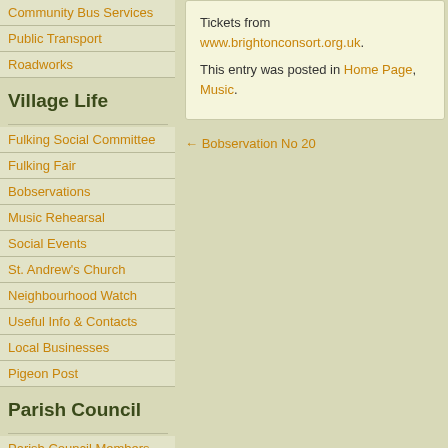Community Bus Services
Public Transport
Roadworks
Village Life
Fulking Social Committee
Fulking Fair
Bobservations
Music Rehearsal
Social Events
St. Andrew's Church
Neighbourhood Watch
Useful Info & Contacts
Local Businesses
Pigeon Post
Parish Council
Parish Council Members
Parish Council News
Planning Decisions
Meetings
Standing Orders &
Tickets from www.brightonconsort.org.uk.
This entry was posted in Home Page, Music.
← Bobservation No 20